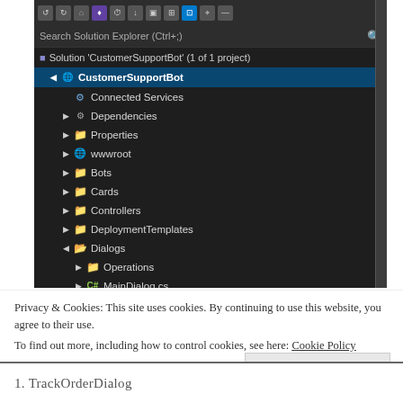[Figure (screenshot): Visual Studio Solution Explorer showing 'CustomerSupportBot' project with folders: Connected Services, Dependencies, Properties, wwwroot, Bots, Cards, Controllers, DeploymentTemplates, Dialogs (expanded with Operations subfolder and MainDialog.cs), AdapterWithErrorHandler.cs, appsettings.json]
Privacy & Cookies: This site uses cookies. By continuing to use this website, you agree to their use.
To find out more, including how to control cookies, see here: Cookie Policy
Close and accept
1. TrackOrderDialog